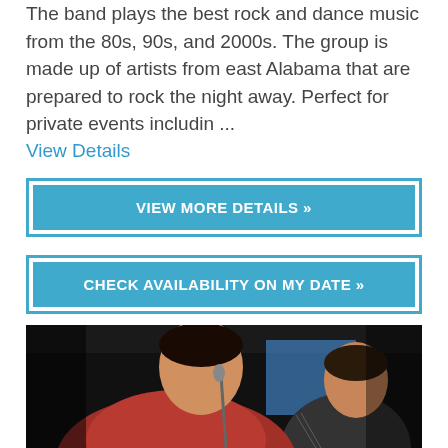The band plays the best rock and dance music from the 80s, 90s, and 2000s. The group is made up of artists from east Alabama that are prepared to rock the night away. Perfect for private events includin ...
View Details
VIEW MORE DETAILS »
CHECK AVAILABILITY ON MY DATE »
[Figure (photo): Two male musicians performing on stage, the one on the left wearing a red/maroon jacket and singing into a microphone, the one on the right playing guitar, with dark stage background and blue lighting element.]